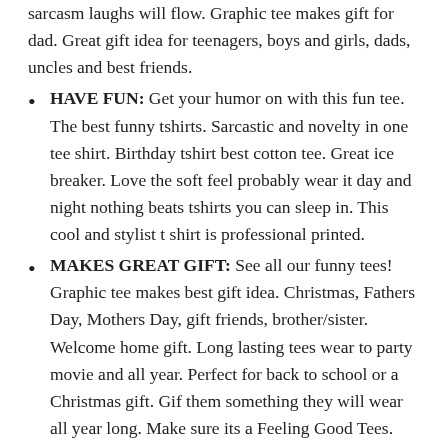sarcasm laughs will flow. Graphic tee makes gift for dad. Great gift idea for teenagers, boys and girls, dads, uncles and best friends.
HAVE FUN: Get your humor on with this fun tee. The best funny tshirts. Sarcastic and novelty in one tee shirt. Birthday tshirt best cotton tee. Great ice breaker. Love the soft feel probably wear it day and night nothing beats tshirts you can sleep in. This cool and stylist t shirt is professional printed.
MAKES GREAT GIFT: See all our funny tees! Graphic tee makes best gift idea. Christmas, Fathers Day, Mothers Day, gift friends, brother/sister. Welcome home gift. Long lasting tees wear to party movie and all year. Perfect for back to school or a Christmas gift. Gif them something they will wear all year long. Make sure its a Feeling Good Tees.
Buy Now
Ranking. 8